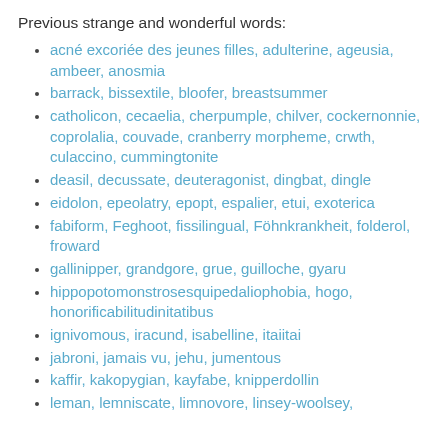Previous strange and wonderful words:
acné excoriée des jeunes filles, adulterine, ageusia, ambeer, anosmia
barrack, bissextile, bloofer, breastsummer
catholicon, cecaelia, cherpumple, chilver, cockernonnie, coprolalia, couvade, cranberry morpheme, crwth, culaccino, cummingtonite
deasil, decussate, deuteragonist, dingbat, dingle
eidolon, epeolatry, epopt, espalier, etui, exoterica
fabiform, Feghoot, fissilingual, Föhnkrankheit, folderol, froward
gallinipper, grandgore, grue, guilloche, gyaru
hippopotomonstrosesquipedaliophobia, hogo, honorificabilitudinitatibus
ignivomous, iracund, isabelline, itaiitai
jabroni, jamais vu, jehu, jumentous
kaffir, kakopygian, kayfabe, knipperdollin
leman, lemniscate, limnovore, linsey-woolsey,